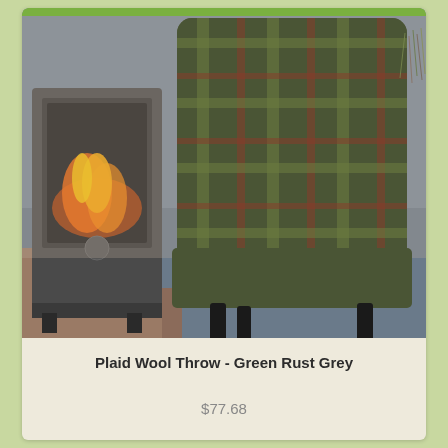[Figure (photo): A plaid wool throw blanket draped over an armchair with black legs, placed in front of a wood-burning stove on a blue-grey carpet. The throw features a green, rust, and grey plaid pattern with fringe edges.]
Plaid Wool Throw - Green Rust Grey
$77.68